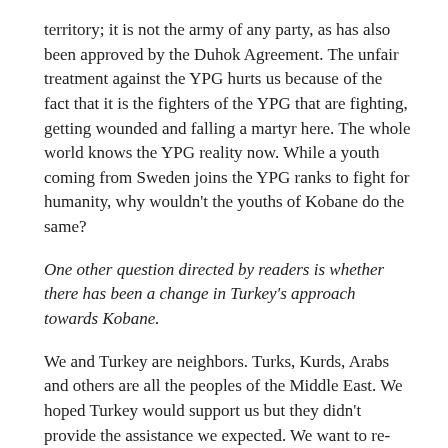territory; it is not the army of any party, as has also been approved by the Duhok Agreement. The unfair treatment against the YPG hurts us because of the fact that it is the fighters of the YPG that are fighting, getting wounded and falling a martyr here. The whole world knows the YPG reality now. While a youth coming from Sweden joins the YPG ranks to fight for humanity, why wouldn't the youths of Kobane do the same?
One other question directed by readers is whether there has been a change in Turkey's approach towards Kobane.
We and Turkey are neighbors. Turks, Kurds, Arabs and others are all the peoples of the Middle East. We hoped Turkey would support us but they didn't provide the assistance we expected. We want to re-voice that ISIS is an enemy to not only Kobane and the Kurds but also to all the states and peoples of the world. For the attainment of peace in the Middle East, Turkey must support Kobane and the YPG, just like us supporting the peace process in the north of Kurdistan and Turkey.